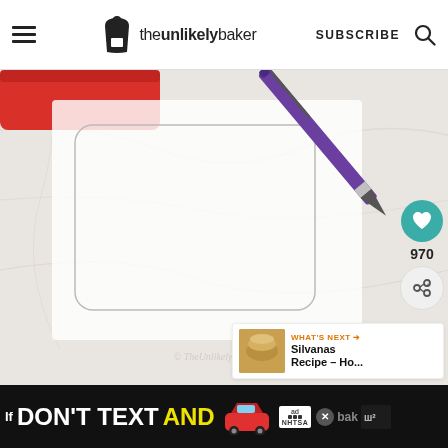theunlikelybaker — SUBSCRIBE
[Figure (photo): Overhead photo of a piece of parchment paper with a rounded rectangle traced on it, a purple pen resting diagonally on the paper, a red baking pan visible at the top-left corner, on a white marble surface. Watermark reads © TheUnlikelyBaker.com. Overlay shows a teal heart like button with count 970, and a share button.]
[Figure (infographic): Ad banner at bottom: dark background with yellow bold text 'DON'T TEXT AND' with a red cartoon car, NHTSA 'ad' badge, close X button, and partial text on the right.]